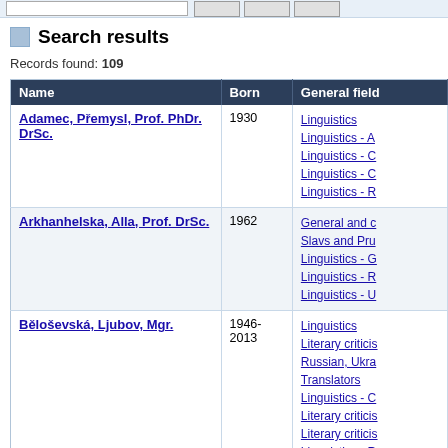Search results
Records found: 109
| Name | Born | General field |
| --- | --- | --- |
| Adamec, Přemysl, Prof. PhDr. DrSc. | 1930 | Linguistics
Linguistics - A
Linguistics - C
Linguistics - C
Linguistics - R |
| Arkhanhelska, Alla, Prof. DrSc. | 1962 | General and c
Slavs and Pru
Linguistics - G
Linguistics - R
Linguistics - U |
| Běloševská, Ljubov, Mgr. | 1946-2013 | Linguistics
Literary criticis
Russian, Ukra
Translators
Linguistics - C
Literary criticis
Literary criticis
Linguistics - R
Literary criticis
Linguistics - S
Literary criticis |